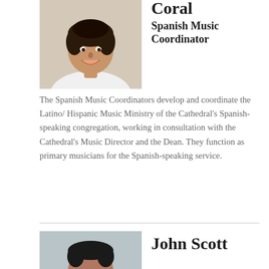[Figure (photo): Headshot photo of a man with dark curly hair, smiling, wearing a white shirt]
Coral Spanish Music Coordinator
The Spanish Music Coordinators develop and coordinate the Latino/Hispanic Music Ministry of the Cathedral’s Spanish-speaking congregation, working in consultation with the Cathedral’s Music Director and the Dean. They function as primary musicians for the Spanish-speaking service.
[Figure (photo): Headshot photo of a man, partially visible at bottom of page]
John Scott